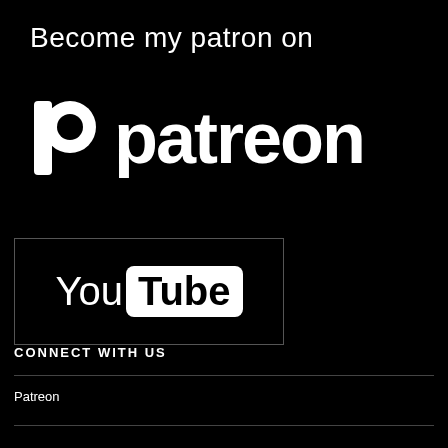Become my patron on
[Figure (logo): Patreon logo with icon and wordmark 'patreon' in white on black background]
[Figure (logo): YouTube logo with 'You' in white text and 'Tube' in black text on white rounded rectangle, inside a bordered box]
CONNECT WITH US
Patreon